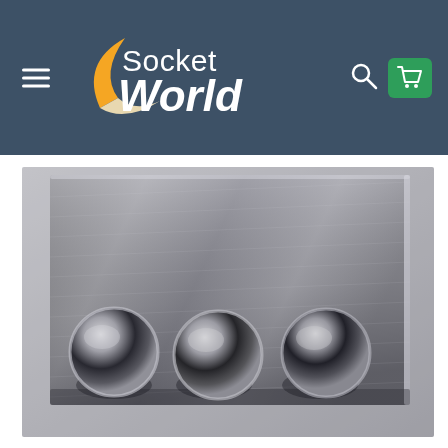Socket World — navigation header with hamburger menu, logo, search icon, and cart icon
[Figure (photo): Close-up photo of a brushed stainless steel dimmer switch plate with three cylindrical push-pull knobs, showing brushed metal texture with soft shadows on a grey background.]